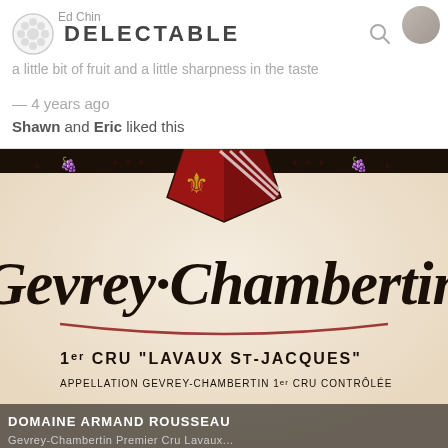DELECTABLE
a little bit of fruit and a little sharpness in the taste
— 4 years ago
Shawn and Eric liked this
[Figure (photo): Close-up photo of a wine bottle label reading Gevrey-Chambertin 1er Cru Lavaux St-Jacques, Domaine Armand Rousseau]